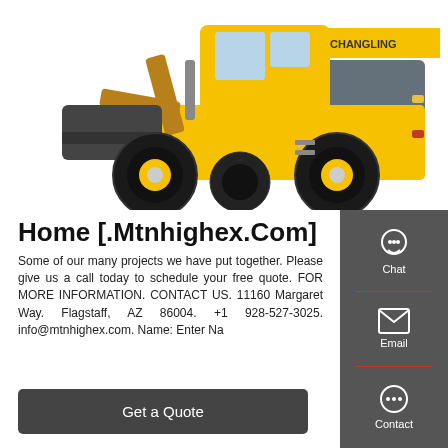[Figure (photo): Yellow wheel loader / front-end loader construction machine (CHANGLING brand) on white background, viewed from the front-right angle showing large black tires and yellow bucket.]
Home [.Mtnhighex.Com]
Some of our many projects we have put together. Please give us a call today to schedule your free quote. FOR MORE INFORMATION. CONTACT US. 11160 Margaret Way. Flagstaff, AZ 86004. +1 928-527-3025. info@mtnhighex.com. Name: Enter Na...
Get a Quote